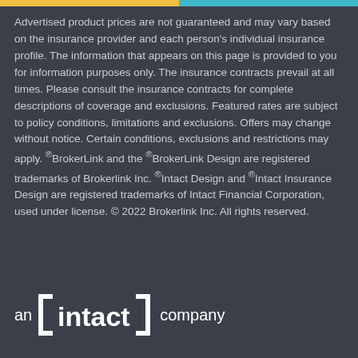Advertised product prices are not guaranteed and may vary based on the insurance provider and each person's individual insurance profile. The information that appears on this page is provided to you for information purposes only. The insurance contracts prevail at all times. Please consult the insurance contracts for complete descriptions of coverage and exclusions. Featured rates are subject to policy conditions, limitations and exclusions. Offers may change without notice. Certain conditions, exclusions and restrictions may apply. ®BrokerLink and the ®BrokerLink Design are registered trademarks of Brokerlink Inc. ®Intact Design and ®Intact Insurance Design are registered trademarks of Intact Financial Corporation, used under license. © 2022 Brokerlink Inc. All rights reserved.
[Figure (logo): an [intact] company logo in white on dark background]